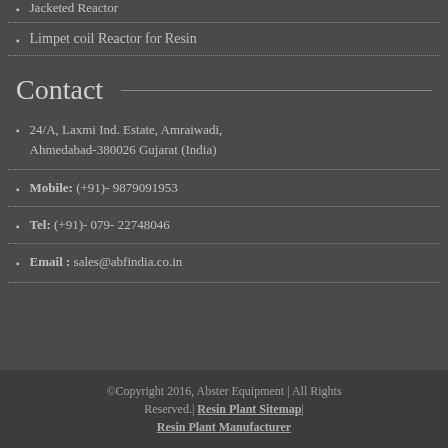Jacketed Reactor
Limpet coil Reactor for Resin
Contact
24/A, Laxmi Ind. Estate, Amraiwadi, Ahmedabad-380026 Gujarat (India)
Mobile: (+91)- 9879091953
Tel: (+91)- 079- 22748046
Email : sales@abfindia.co.in
©Copyright 2016, Abster Equipment | All Rights Reserved.| Resin Plant Sitemap| Resin Plant Manufacturer